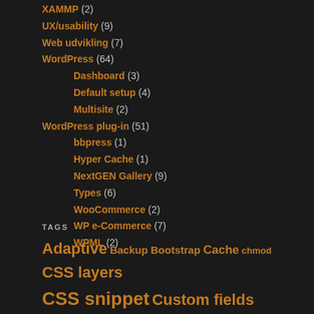XAMMP (2)
UX/usability (9)
Web udvikling (7)
WordPress (64)
Dashboard (3)
Default setup (4)
Multisite (2)
WordPress plug-in (51)
bbpress (1)
Hyper Cache (1)
NextGEN Gallery (9)
Types (6)
WooCommerce (2)
WP e-Commerce (7)
WPML (2)
TAGS
Adaptive Backup Bootstrap Cache chmod CSS layers CSS snippet Custom fields Custom Post Types cvs DB export DB import